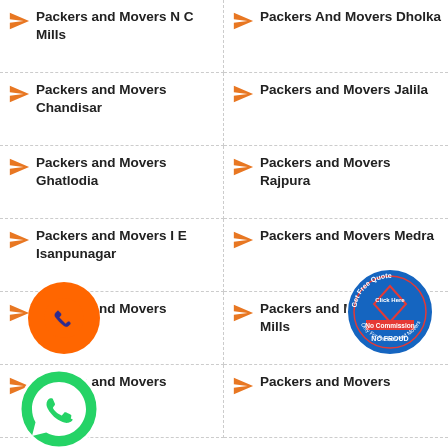Packers and Movers N C Mills
Packers And Movers Dholka
Packers and Movers Chandisar
Packers and Movers Jalila
Packers and Movers Ghatlodia
Packers and Movers Rajpura
Packers and Movers I E Isanpunagar
Packers and Movers Medra
Packers and Movers Vadodara
Packers and Movers S A Mills
Packers and Movers
Packers and Movers
[Figure (illustration): Orange phone call button badge and green WhatsApp button badge, overlaid on content]
[Figure (illustration): Circular stamp badge: Get Free Quote, Click Here, No Commission, NO FRAUD, Only For Packers and Movers]